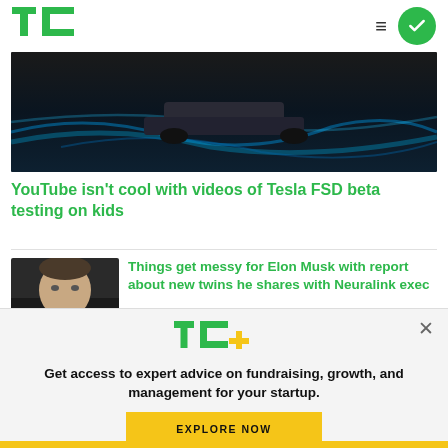TechCrunch
[Figure (photo): Aerial photo of a Tesla car on road with blue light trails/curves]
YouTube isn't cool with videos of Tesla FSD beta testing on kids
[Figure (photo): Thumbnail photo of Elon Musk in formal attire]
Things get messy for Elon Musk with report about new twins he shares with Neuralink exec
[Figure (logo): TC+ logo in green and yellow]
Get access to expert advice on fundraising, growth, and management for your startup.
EXPLORE NOW